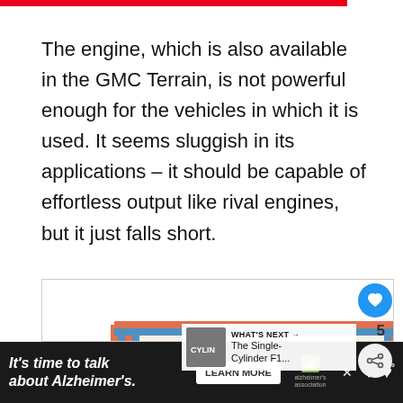The engine, which is also available in the GMC Terrain, is not powerful enough for the vehicles in which it is used. It seems sluggish in its applications – it should be capable of effortless output like rival engines, but it just falls short.
[Figure (screenshot): Content card with heart/like button (blue circle with heart icon), count of 5, and share button. Below shows partial view of an envelope graphic with 'Engineering' text in red and black lettering. A 'WHAT'S NEXT' panel shows thumbnail and text 'The Single-Cylinder F1...']
[Figure (advertisement): Dark advertisement bar at bottom: "It's time to talk about Alzheimer's." with LEARN MORE button and Alzheimer's Association logo]